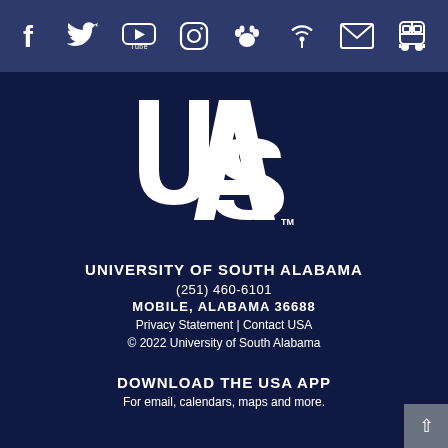[Figure (other): Social media icon bar with Facebook, Twitter, YouTube, Instagram, paw (USA mascot), broadcast/wifi, email, and bus icons on dark blue background]
[Figure (logo): University of South Alabama logo: large interlocking letters U, S, A in white on dark navy background with TM mark]
UNIVERSITY OF SOUTH ALABAMA
(251) 460-6101
MOBILE, ALABAMA 36688
Privacy Statement | Contact USA
© 2022 University of South Alabama
DOWNLOAD THE USA APP
For email, calendars, maps and more.